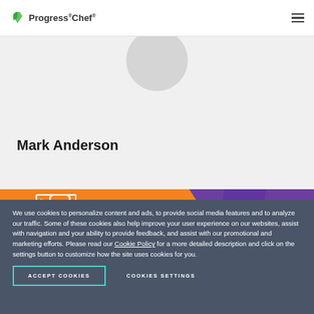Progress Chef
[Figure (screenshot): Profile section with avatar circle placeholder and name Mark Anderson on grey background]
Mark Anderson
[Figure (infographic): Chef Conf banner: September 12-13, 2022 The DevOps Conference You Don't Want to Miss! REGISTER NOW]
We use cookies to personalize content and ads, to provide social media features and to analyze our traffic. Some of these cookies also help improve your user experience on our websites, assist with navigation and your ability to provide feedback, and assist with our promotional and marketing efforts. Please read our Cookie Policy for a more detailed description and click on the settings button to customize how the site uses cookies for you.
ACCEPT COOKIES
COOKIES SETTINGS